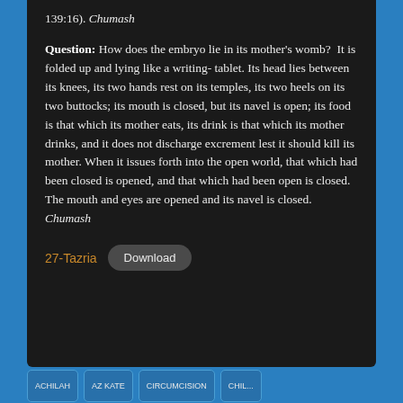139:16). Chumash
Question: How does the embryo lie in its mother's womb? It is folded up and lying like a writing-tablet. Its head lies between its knees, its two hands rest on its temples, its two heels on its two buttocks; its mouth is closed, but its navel is open; its food is that which its mother eats, its drink is that which its mother drinks, and it does not discharge excrement lest it should kill its mother. When it issues forth into the open world, that which had been closed is opened, and that which had been open is closed. The mouth and eyes are opened and its navel is closed. Chumash
27-Tazria   Download
ACHILAH   AZ KATE   CIRCUMCISION   CHIL...